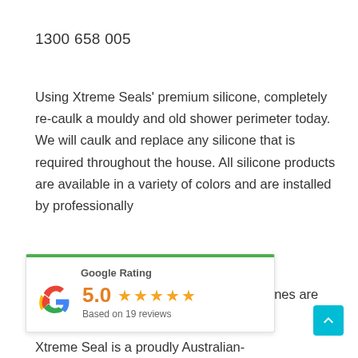1300 658 005
Using Xtreme Seals' premium silicone, completely re-caulk a mouldy and old shower perimeter today. We will caulk and replace any silicone that is required throughout the house. All silicone products are available in a variety of colors and are installed by professionally
[Figure (other): Google Rating widget showing 5.0 stars based on 19 reviews, with Google G logo, green top border, and white card background]
Xtreme Seal is a proudly Australian-